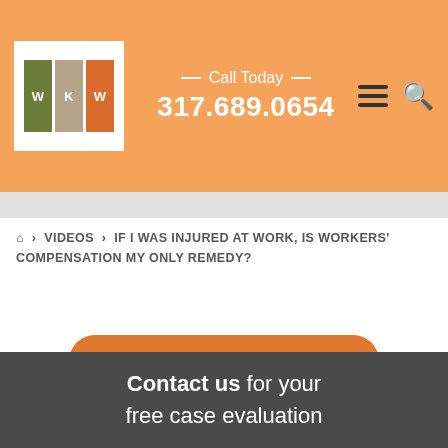WKW — Call Today — 317.689.0654
🏠 › VIDEOS › IF I WAS INJURED AT WORK, IS WORKERS' COMPENSATION MY ONLY REMEDY?
Request a Free Consultation
Contact us for your free case evaluation